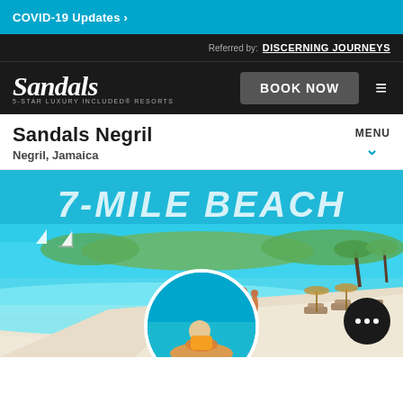COVID-19 Updates ›
Referred by: DISCERNING JOURNEYS
[Figure (logo): Sandals 5-star luxury included resorts logo in white on dark background]
BOOK NOW
Sandals Negril
Negril, Jamaica
MENU
[Figure (photo): Aerial/wide view of 7-Mile Beach at Sandals Negril, Jamaica. Turquoise clear water, white sandy beach with lounge chairs and palm trees, couple walking on beach, sailboats in background. Large text overlay reads '7-MILE BEACH'.]
[Figure (photo): Circular cropped photo at bottom showing person on water activity (jet ski or similar) at the resort.]
[Figure (other): Chat button — dark circular button with three white speech-bubble dots]